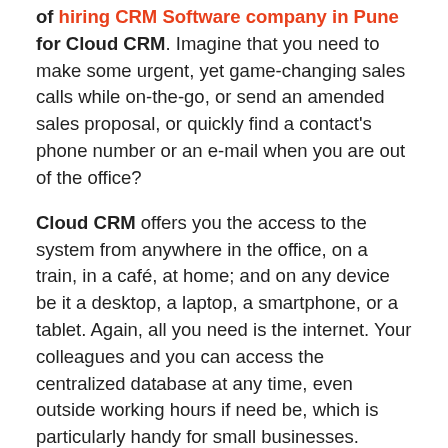of hiring CRM Software company in Pune for Cloud CRM. Imagine that you need to make some urgent, yet game-changing sales calls while on-the-go, or send an amended sales proposal, or quickly find a contact's phone number or an e-mail when you are out of the office?
Cloud CRM offers you the access to the system from anywhere in the office, on a train, in a café, at home; and on any device be it a desktop, a laptop, a smartphone, or a tablet. Again, all you need is the internet. Your colleagues and you can access the centralized database at any time, even outside working hours if need be, which is particularly handy for small businesses.
#3. Ease of use
First, you buy a software package at a fixed monthly price. All you need to do is log in with the access codes provided, and ensured you have a reasonably fast Internet connection at all times, and a device you prefer to work on